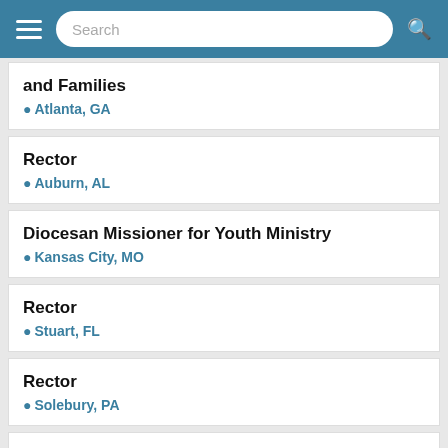Search
and Families
Atlanta, GA
Rector
Auburn, AL
Diocesan Missioner for Youth Ministry
Kansas City, MO
Rector
Stuart, FL
Rector
Solebury, PA
Rector
Westwood, MA